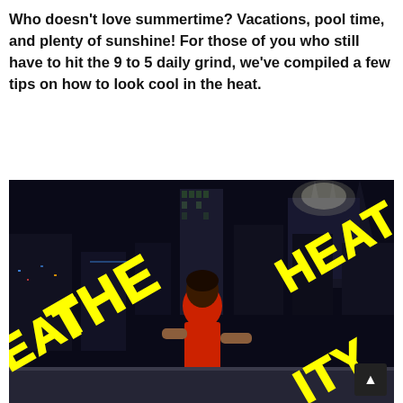Who doesn't love summertime? Vacations, pool time, and plenty of sunshine! For those of you who still have to hit the 9 to 5 daily grind, we've compiled a few tips on how to look cool in the heat.
[Figure (photo): A woman in a red dress standing on a rooftop at night with a city skyline behind her. Yellow bold text overlays read 'BEAT THE HEAT' and partial words at the bottom.]